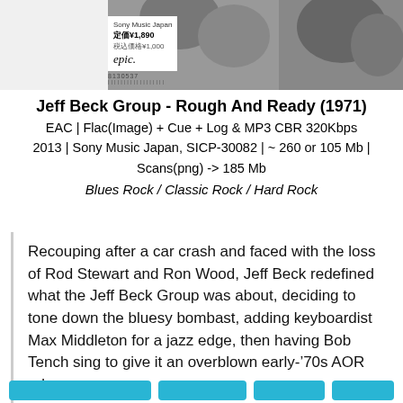[Figure (photo): Album cover or promotional photo of Jeff Beck Group in black and white, partially visible, with a white label box showing price ¥1,890 and Epic logo, and barcode at bottom left]
Jeff Beck Group - Rough And Ready (1971)
EAC | Flac(Image) + Cue + Log & MP3 CBR 320Kbps
2013 | Sony Music Japan, SICP-30082 | ~ 260 or 105 Mb |
Scans(png) -> 185 Mb
Blues Rock / Classic Rock / Hard Rock
Recouping after a car crash and faced with the loss of Rod Stewart and Ron Wood, Jeff Beck redefined what the Jeff Beck Group was about, deciding to tone down the bluesy bombast, adding keyboardist Max Middleton for a jazz edge, then having Bob Tench sing to give it an overblown early-'70s AOR edge…